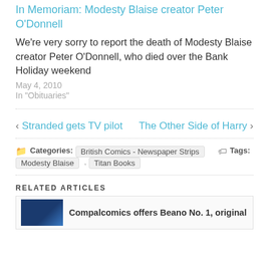In Memoriam: Modesty Blaise creator Peter O'Donnell
We're very sorry to report the death of Modesty Blaise creator Peter O'Donnell, who died over the Bank Holiday weekend
May 4, 2010
In "Obituaries"
‹ Stranded gets TV pilot
The Other Side of Harry ›
Categories: British Comics - Newspaper Strips    Tags: Modesty Blaise , Titan Books
RELATED ARTICLES
Compalcomics offers Beano No. 1, original